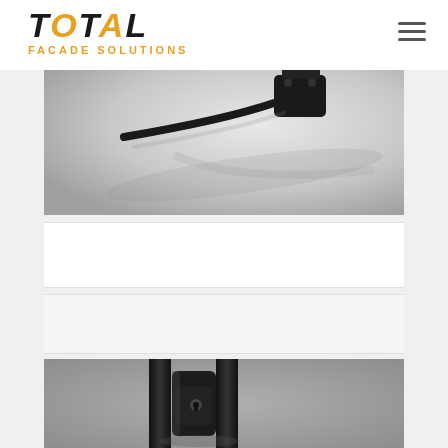[Figure (logo): Total Facade Solutions logo with stylized italic text, 'TOTAL' in black and orange, 'FACADE SOLUTIONS' subtitle in orange]
[Figure (photo): Close-up black and white product photo of a black door/window handle hardware component on white background, showing a latch or lock mechanism with shadows]
[Figure (photo): White/blank panel area]
[Figure (photo): Light grey/white panel area]
[Figure (photo): Black and white close-up photo of a window or door handle/lock hardware, showing dark handle with keyhole on aluminium frame profile]